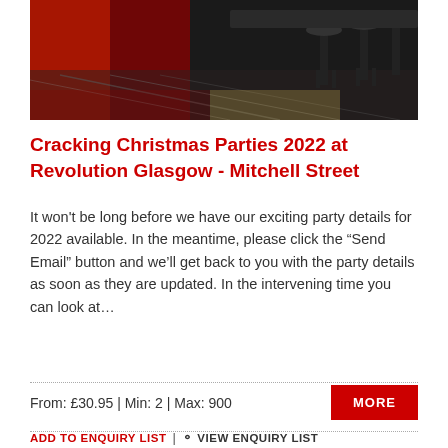[Figure (photo): Interior photo of Revolution Glasgow bar venue with red lighting, bar stools, and reflective tiled floor]
Cracking Christmas Parties 2022 at Revolution Glasgow - Mitchell Street
It won't be long before we have our exciting party details for 2022 available. In the meantime, please click the “Send Email” button and we’ll get back to you with the party details as soon as they are updated. In the intervening time you can look at…
From: £30.95 | Min: 2 | Max: 900
ADD TO ENQUIRY LIST | VIEW ENQUIRY LIST